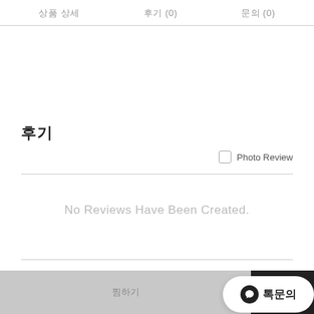상품 상세    후기 (0)    문의 (0)
후기
Photo Review
No Reviews Have Been Created.
찜하기  PO  톡문의